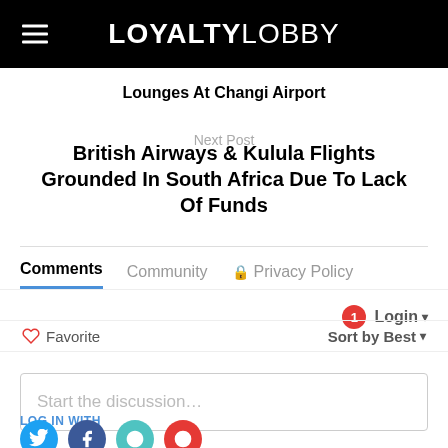LOYALTYLOBBY
Lounges At Changi Airport
Next Post
British Airways & Kulula Flights Grounded In South Africa Due To Lack Of Funds
Comments  Community  Privacy Policy
Login
Favorite   Sort by Best
Start the discussion…
LOG IN WITH